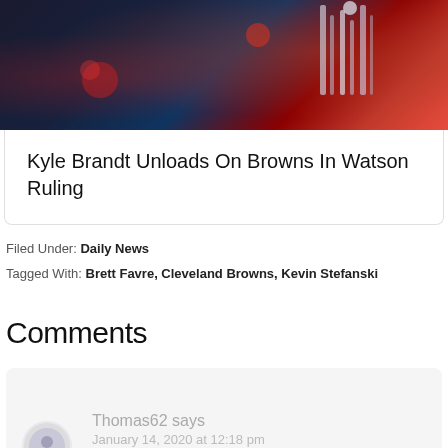[Figure (photo): Dark background photo showing red and blue lighting with what appears to be a microphone or awards show setting]
Kyle Brandt Unloads On Browns In Watson Ruling
Filed Under: Daily News
Tagged With: Brett Favre, Cleveland Browns, Kevin Stefanski
Comments
Thomas62 says
January 14, 2020 at 12:18 pm